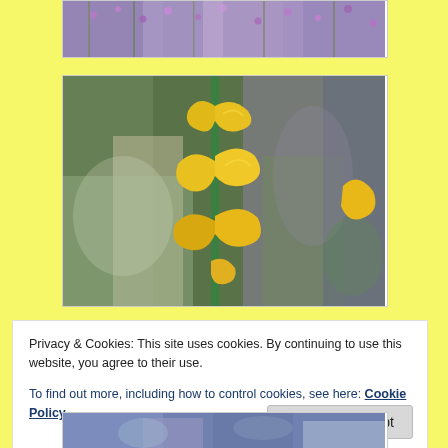[Figure (photo): Partially visible photo of purple lavender flowers with green stems against a blurred background]
[Figure (photo): Close-up photo of bright yellow curling flower blooms on a green stem, with blurred green and brown garden background]
Privacy & Cookies: This site uses cookies. By continuing to use this website, you agree to their use.
To find out more, including how to control cookies, see here: Cookie Policy
[Figure (photo): Partially visible photo of blue/purple flowers at the bottom of the page]